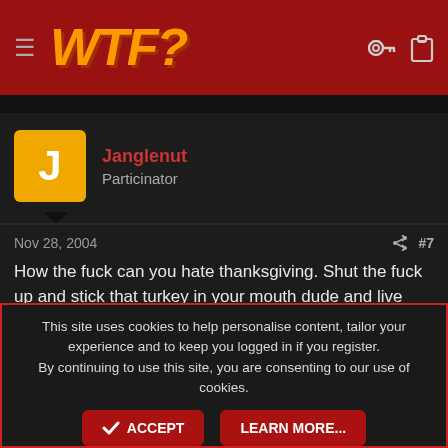WTF?
Janglenut
Particinator
Nov 28, 2004  #7
How the fuck can you hate thanksgiving. Shut the fuck up and stick that turkey in your mouth dude and live another day! It's like watching Jerry Springer live~except you get 200$'s worth of good food. Quit the bitching and have fun.
This site uses cookies to help personalise content, tailor your experience and to keep you logged in if you register.
By continuing to use this site, you are consenting to our use of cookies.